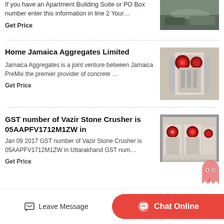If you have an Apartment Building Suite or PO Box number enter this information in line 2 Your…
Get Price
Home Jamaica Aggregates Limited
Jamaica Aggregates is a joint venture between Jamaica PreMix the premier provider of concrete …
Get Price
GST number of Vazir Stone Crusher is 05AAPFV1712M1ZW in
Jan 09 2017 GST number of Vazir Stone Crusher is 05AAPFV1712M1ZW in Uttarakhand GST num…
Get Price
[Figure (photo): Aerial view of a quarry or mining site]
[Figure (photo): Industrial jaw crusher machinery with red flywheel]
[Figure (photo): Multiple jaw crushers in an industrial factory setting]